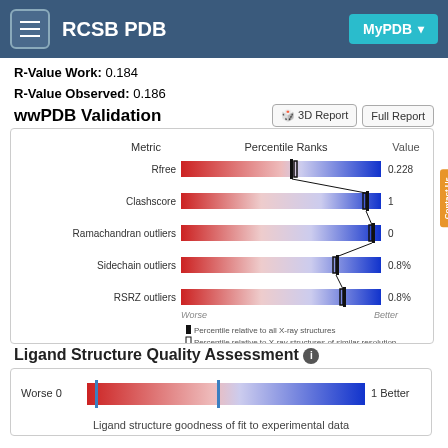RCSB PDB  MyPDB
R-Value Work: 0.184
R-Value Observed: 0.186
wwPDB Validation
[Figure (bar-chart): Horizontal gradient bars from red (worse) to blue (better) showing percentile ranks for each metric. Each bar has two marker lines indicating percentile relative to all X-ray structures and percentile relative to X-ray structures of similar resolution.]
Ligand Structure Quality Assessment
[Figure (continuous-plot): Horizontal gradient bar from red (0, Worse) to blue (1, Better) with two vertical marker lines, showing ligand structure goodness of fit to experimental data.]
Ligand structure goodness of fit to experimental data